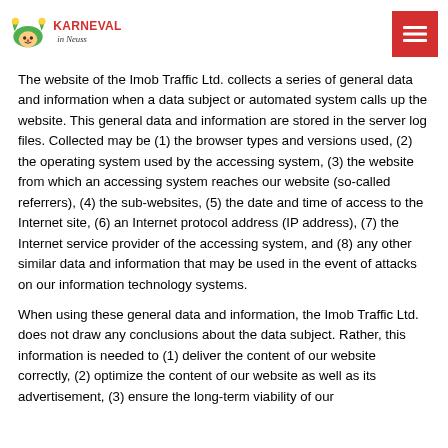Karneval in Neuss
The website of the Imob Traffic Ltd. collects a series of general data and information when a data subject or automated system calls up the website. This general data and information are stored in the server log files. Collected may be (1) the browser types and versions used, (2) the operating system used by the accessing system, (3) the website from which an accessing system reaches our website (so-called referrers), (4) the sub-websites, (5) the date and time of access to the Internet site, (6) an Internet protocol address (IP address), (7) the Internet service provider of the accessing system, and (8) any other similar data and information that may be used in the event of attacks on our information technology systems.
When using these general data and information, the Imob Traffic Ltd. does not draw any conclusions about the data subject. Rather, this information is needed to (1) deliver the content of our website correctly, (2) optimize the content of our website as well as its advertisement, (3) ensure the long-term viability of our